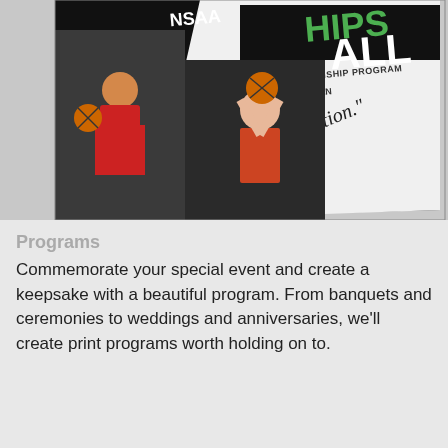[Figure (photo): Photo of a basketball championship program booklet for NSAA (Nebraska Schools Activities Association). The program cover shows 'NSAA OFFICIAL CHAMPIONSHIP PROGRAM', 'MARCH 6-8, 2014 • LINCOLN', and the quote '...the other half of education.' There are photos of female basketball players on the cover.]
Programs
Commemorate your special event and create a keepsake with a beautiful program. From banquets and ceremonies to weddings and anniversaries, we'll create print programs worth holding on to.